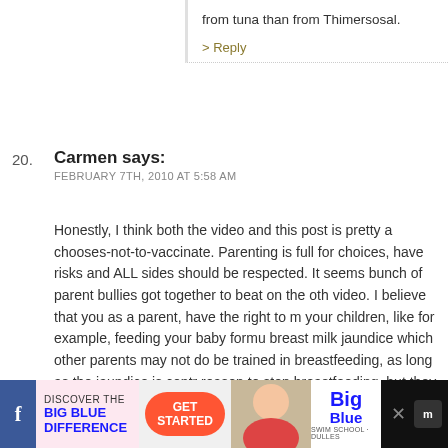from tuna than from Thimersosal.
> Reply
20. Carmen says: FEBRUARY 7TH, 2010 AT 5:58 AM
Honestly, I think both the video and this post is pretty a chooses-not-to-vaccinate. Parenting is full for choices, have risks and ALL sides should be respected. It seems bunch of parent bullies got together to beat on the oth video. I believe that you as a parent, have the right to m your children, like for example, feeding your baby formu breast milk jaundice which other parents may not do be trained in breastfeeding, as long as the jaundice is contr reason to stop breastfeeding, but they don't judge you t each their own, right?
I am pro vaccine but I do my own schedule. And I believ making informed choices and not judging each other- th
[Figure (screenshot): Advertisement bar at bottom: Discover the Big Blue Difference, Get Started button, photo of child, Big Blue logo, social media icons]